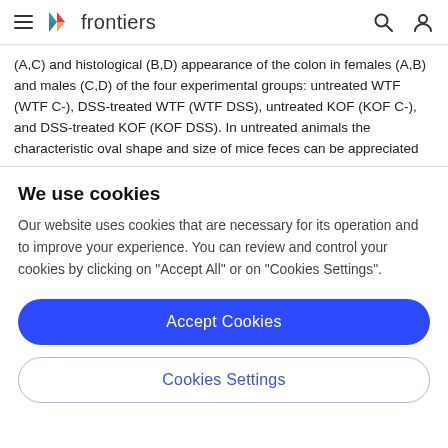frontiers
(A,C) and histological (B,D) appearance of the colon in females (A,B) and males (C,D) of the four experimental groups: untreated WTF (WTF C-), DSS-treated WTF (WTF DSS), untreated KOF (KOF C-), and DSS-treated KOF (KOF DSS). In untreated animals the characteristic oval shape and size of mice feces can be appreciated
We use cookies
Our website uses cookies that are necessary for its operation and to improve your experience. You can review and control your cookies by clicking on "Accept All" or on "Cookies Settings".
Accept Cookies
Cookies Settings